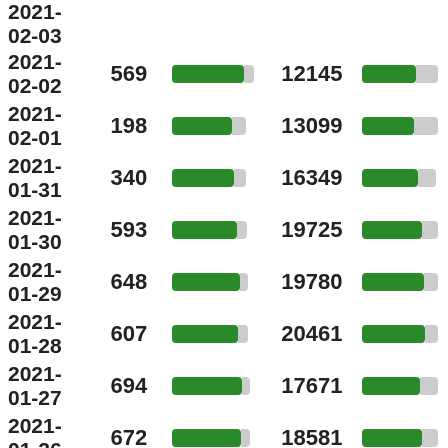| Date | Daily | Bar1 | Cumulative | Bar2 |
| --- | --- | --- | --- | --- |
| 2021-02-03 |  |  |  |  |
| 2021-02-02 | 569 |  | 12145 |  |
| 2021-02-01 | 198 |  | 13099 |  |
| 2021-01-31 | 340 |  | 16349 |  |
| 2021-01-30 | 593 |  | 19725 |  |
| 2021-01-29 | 648 |  | 19780 |  |
| 2021-01-28 | 607 |  | 20461 |  |
| 2021-01-27 | 694 |  | 17671 |  |
| 2021-01-26 | 672 |  | 18581 |  |